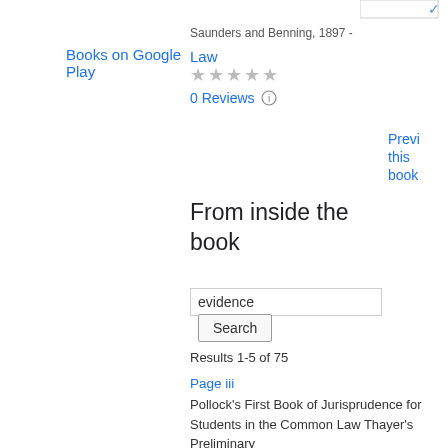Books on Google Play
Saunders and Benning, 1897 -
Law
★★★★★
0 Reviews
Previ this book
From inside the book
evidence
Search
Results 1-5 of 75
Page iii
Pollock's First Book of Jurisprudence for Students in the Common Law Thayer's Preliminary